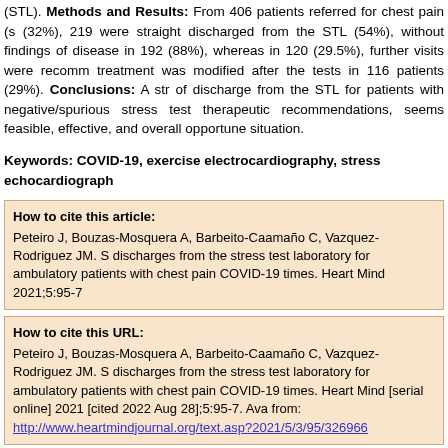(STL). Methods and Results: From 406 patients referred for chest pain (32%), 219 were straight discharged from the STL (54%), without findings of disease in 192 (88%), whereas in 120 (29.5%), further visits were recommended; treatment was modified after the tests in 116 patients (29%). Conclusions: A strategy of discharge from the STL for patients with negative/spurious stress test therapeutic recommendations, seems feasible, effective, and overall opportune to situation.
Keywords: COVID-19, exercise electrocardiography, stress echocardiography
How to cite this article:
Peteiro J, Bouzas-Mosquera A, Barbeito-Caamaño C, Vazquez-Rodriguez JM. S discharges from the stress test laboratory for ambulatory patients with chest pain COVID-19 times. Heart Mind 2021;5:95-7
How to cite this URL:
Peteiro J, Bouzas-Mosquera A, Barbeito-Caamaño C, Vazquez-Rodriguez JM. S discharges from the stress test laboratory for ambulatory patients with chest pain COVID-19 times. Heart Mind [serial online] 2021 [cited 2022 Aug 28];5:95-7. Ava from: http://www.heartmindjournal.org/text.asp?2021/5/3/95/326966
Introduction